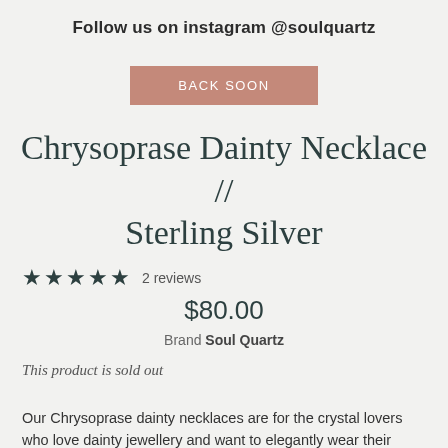Follow us on instagram @soulquartz
BACK SOON
Chrysoprase Dainty Necklace // Sterling Silver
★★★★★ 2 reviews
$80.00
Brand Soul Quartz
This product is sold out
Our Chrysoprase dainty necklaces are for the crystal lovers who love dainty jewellery and want to elegantly wear their